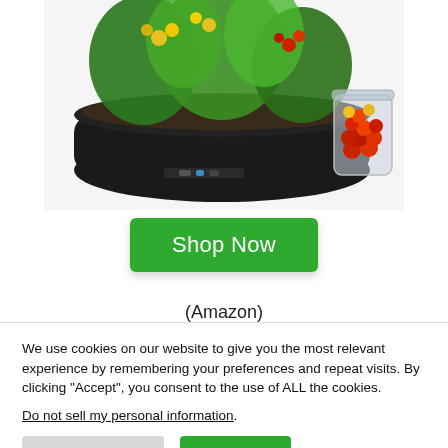[Figure (photo): A black oval indoor garden planter/herb grower with green leafy plants (including yellow and red cherry tomatoes) growing from the top. A glass jar filled with red and yellow cherry tomatoes is on the right side. The device sits on a white surface and has a small control panel on the front.]
Shop Now
(Amazon)
We use cookies on our website to give you the most relevant experience by remembering your preferences and repeat visits. By clicking “Accept”, you consent to the use of ALL the cookies.
Do not sell my personal information.
Cookie Settings
Accept